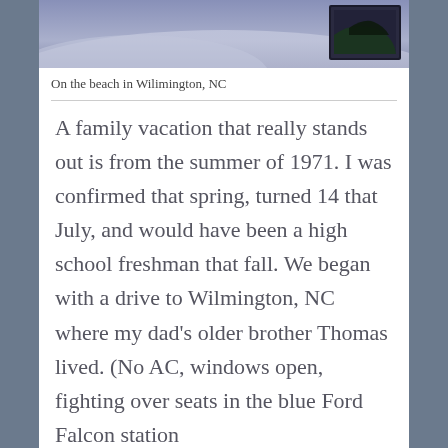[Figure (photo): A photo showing a beach scene in Wilmington, NC — sandy/snowy-looking surface with a dark framed image in the upper right corner]
On the beach in Wilimington, NC
A family vacation that really stands out is from the summer of 1971. I was confirmed that spring, turned 14 that July, and would have been a high school freshman that fall. We began with a drive to Wilmington, NC where my dad's older brother Thomas lived. (No AC, windows open, fighting over seats in the blue Ford Falcon station